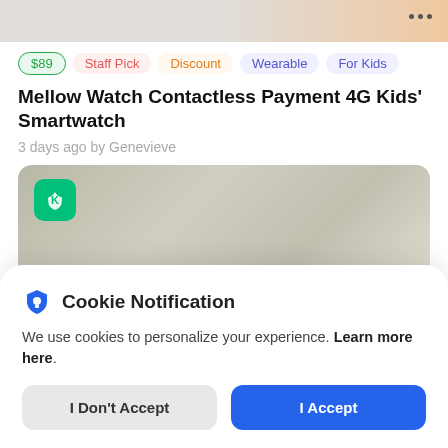[Figure (screenshot): Partial product image strip at top of page with beige/orange gradient background]
$89  Staff Pick  Discount  Wearable  For Kids
Mellow Watch Contactless Payment 4G Kids' Smartwatch
3 days ago by Genevieve
[Figure (photo): Person with towel wrapped around head, Kickstarter green icon overlay in top-left corner]
Cookie Notification
We use cookies to personalize your experience. Learn more here.
I Don't Accept  I Accept